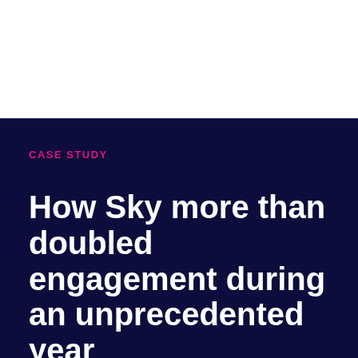CASE STUDY
How Sky more than doubled engagement during an unprecedented year